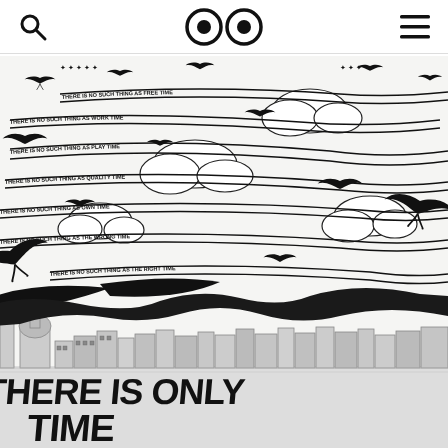Search | Eyes logo | Menu
[Figure (illustration): Black and white detailed illustration featuring swallows/swifts flying across a sky with scrolling banners reading phrases like 'THERE IS NO SUCH THING AS WORK TIME', 'THERE IS NO SUCH THING AS FREE TIME', 'THERE IS NO SUCH THING AS PLAY TIME', 'THERE IS NO SUCH THING AS QUALITY TIME', 'THERE IS NO SUCH THING AS OWN TIME', 'THERE IS NO SUCH THING AS THE WRONG TIME', 'THERE IS NO SUCH THING AS THE RIGHT TIME', above a detailed cityscape (Edinburgh skyline), with large bold lettering at the bottom reading 'THERE IS ONLY TIME']